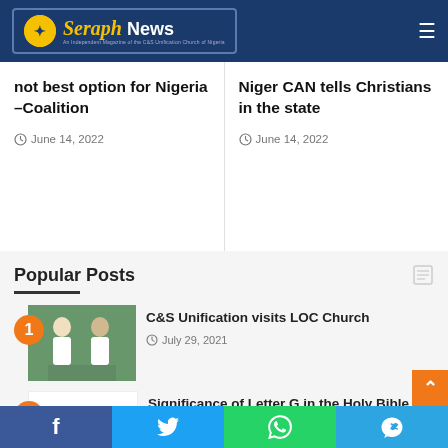[Figure (logo): Seraph News logo — navy blue banner with yellow italic 'Seraph' and white 'News' text, circular emblem on left]
not best option for Nigeria –Coalition
June 14, 2022
Niger CAN tells Christians in the state
June 14, 2022
Popular Posts
1 — C&S Unification visits LOC Church — July 29, 2021
2 — Significance of Letter G in the Holy Bible — July 24, 2020